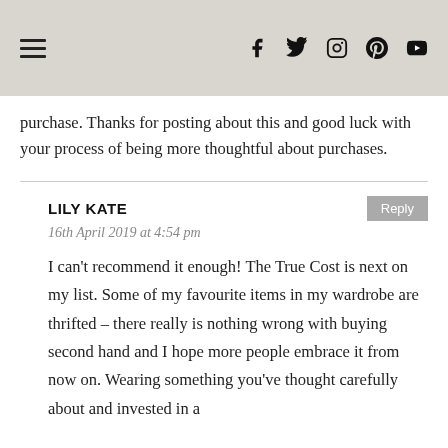[hamburger menu icon] [social icons: facebook, twitter, instagram, pinterest, youtube]
purchase. Thanks for posting about this and good luck with your process of being more thoughtful about purchases.
LILY KATE
16th April 2019 at 4:54 pm
I can't recommend it enough! The True Cost is next on my list. Some of my favourite items in my wardrobe are thrifted – there really is nothing wrong with buying second hand and I hope more people embrace it from now on. Wearing something you've thought carefully about and invested in a